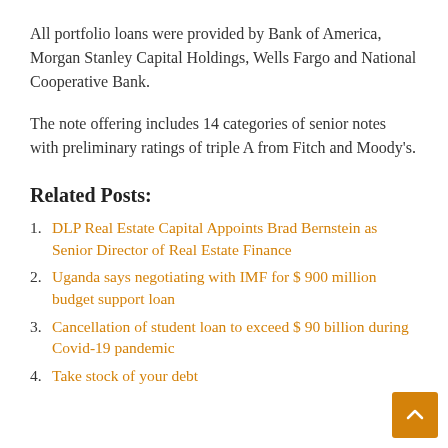All portfolio loans were provided by Bank of America, Morgan Stanley Capital Holdings, Wells Fargo and National Cooperative Bank.
The note offering includes 14 categories of senior notes with preliminary ratings of triple A from Fitch and Moody's.
Related Posts:
DLP Real Estate Capital Appoints Brad Bernstein as Senior Director of Real Estate Finance
Uganda says negotiating with IMF for $ 900 million budget support loan
Cancellation of student loan to exceed $ 90 billion during Covid-19 pandemic
Take stock of your debt